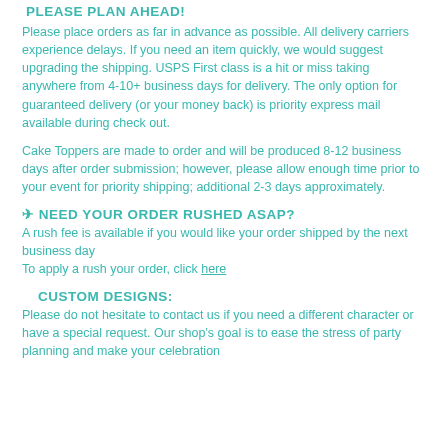PLEASE PLAN AHEAD!
Please place orders as far in advance as possible. All delivery carriers experience delays. If you need an item quickly, we would suggest upgrading the shipping. USPS First class is a hit or miss taking anywhere from 4-10+ business days for delivery. The only option for guaranteed delivery (or your money back) is priority express mail available during check out.
Cake Toppers are made to order and will be produced 8-12 business days after order submission; however, please allow enough time prior to your event for priority shipping; additional 2-3 days approximately.
✈ NEED YOUR ORDER RUSHED ASAP?
A rush fee is available if you would like your order shipped by the next business day
To apply a rush your order, click here
CUSTOM DESIGNS:
Please do not hesitate to contact us if you need a different character or have a special request. Our shop's goal is to ease the stress of party planning and make your celebration